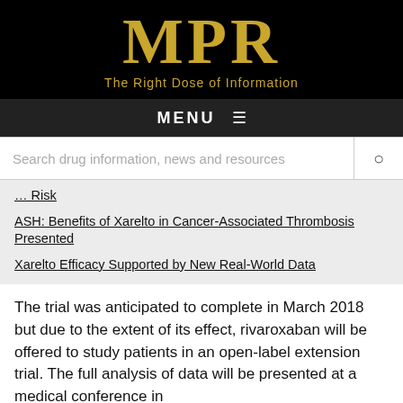[Figure (logo): MPR logo — black background with gold serif MPR letters and tagline 'The Right Dose of Information']
MENU ≡
Search drug information, news and resources
… Risk
ASH: Benefits of Xarelto in Cancer-Associated Thrombosis Presented
Xarelto Efficacy Supported by New Real-World Data
The trial was anticipated to complete in March 2018 but due to the extent of its effect, rivaroxaban will be offered to study patients in an open-label extension trial. The full analysis of data will be presented at a medical conference in